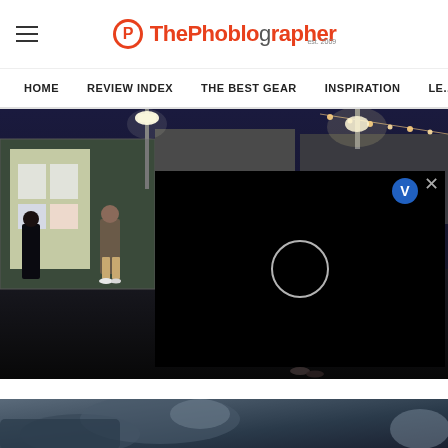The Phoblographer (est. 2009) — navigation: HOME, REVIEW INDEX, THE BEST GEAR, INSPIRATION, LE...
[Figure (photo): Night-time outdoor scene with shipping containers, string lights, and people walking; overlaid with a black video player panel containing a white circle play button and a V-logo icon in the upper right corner with an X close button]
[Figure (photo): Partial bottom image showing a dark blue/grey scene, partially cropped]